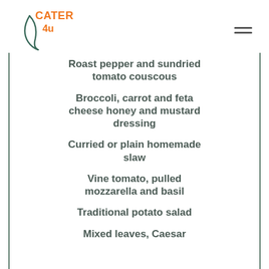Cater 4u logo and navigation
Roast pepper and sundried tomato couscous
Broccoli, carrot and feta cheese honey and mustard dressing
Curried or plain homemade slaw
Vine tomato, pulled mozzarella and basil
Traditional potato salad
Mixed leaves, Caesar